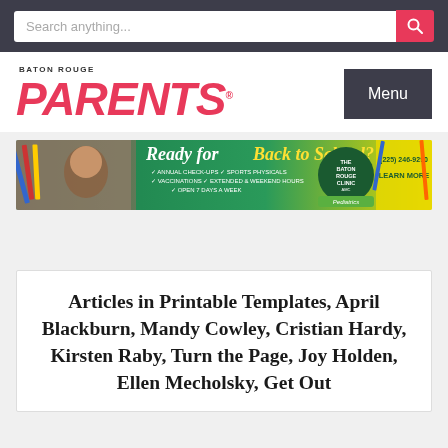Search anything...
[Figure (logo): Baton Rouge Parents magazine logo with red bold italic PARENTS text]
[Figure (infographic): Back to School advertisement banner for The Baton Rouge Clinic AMC Pediatrics. Text: Ready for Back to School? Annual Check-Ups, Sports Physicals, Vaccinations, Extended & Weekend Hours, Open 7 Days a Week. (225) 246-9290 Learn More]
Articles in Printable Templates, April Blackburn, Mandy Cowley, Cristian Hardy, Kirsten Raby, Turn the Page, Joy Holden, Ellen Mecholsky, Get Out